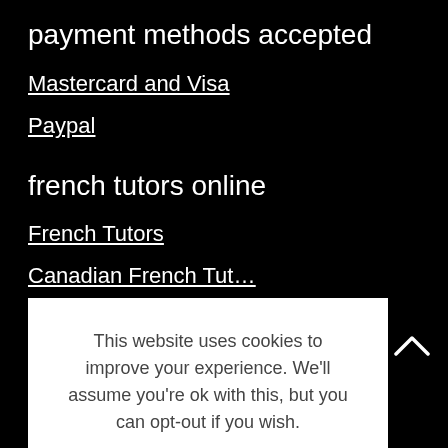payment methods accepted
Mastercard and Visa
Paypal
french tutors online
French Tutors
This website uses cookies to improve your experience. We'll assume you're ok with this, but you can opt-out if you wish.
Cookie settings
ACCEPT
French Tutors in London